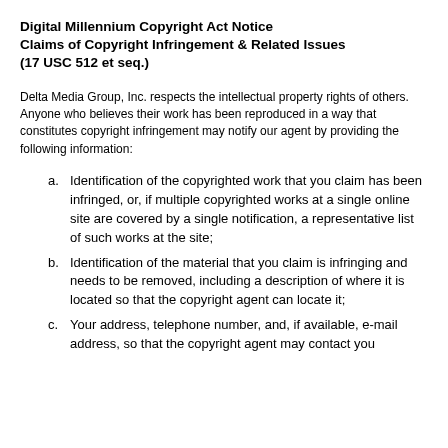Digital Millennium Copyright Act Notice Claims of Copyright Infringement & Related Issues (17 USC 512 et seq.)
Delta Media Group, Inc. respects the intellectual property rights of others. Anyone who believes their work has been reproduced in a way that constitutes copyright infringement may notify our agent by providing the following information:
Identification of the copyrighted work that you claim has been infringed, or, if multiple copyrighted works at a single online site are covered by a single notification, a representative list of such works at the site;
Identification of the material that you claim is infringing and needs to be removed, including a description of where it is located so that the copyright agent can locate it;
Your address, telephone number, and, if available, e-mail address, so that the copyright agent may contact you